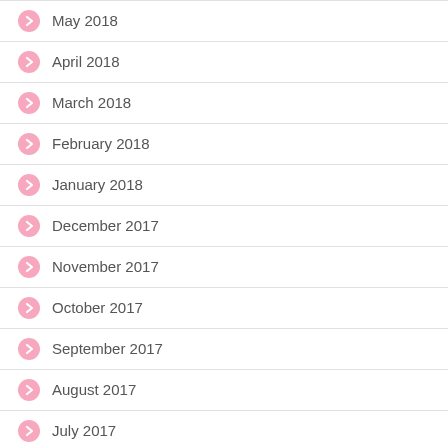May 2018
April 2018
March 2018
February 2018
January 2018
December 2017
November 2017
October 2017
September 2017
August 2017
July 2017
June 2017
May 2017
April 2017